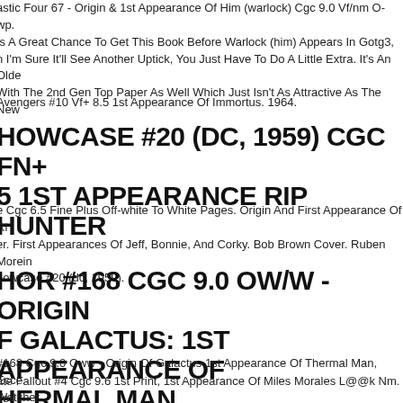astic Four 67 - Origin & 1st Appearance Of Him (warlock) Cgc 9.0 Vf/nm O-wp. Is A Great Chance To Get This Book Before Warlock (him) Appears In Gotg3, n I'm Sure It'll See Another Uptick, You Just Have To Do A Little Extra. It's An Olde With The 2nd Gen Top Paper As Well Which Just Isn't As Attractive As The New
Avengers #10 Vf+ 8.5 1st Appearance Of Immortus. 1964.
HOWCASE #20 (DC, 1959) CGC FN+ 5 1ST APPEARANCE RIP HUNTER
e Cgc 6.5 Fine Plus Off-white To White Pages. Origin And First Appearance Of Ri er. First Appearances Of Jeff, Bonnie, And Corky. Bob Brown Cover. Ruben Morein howcase #20 (dc, 1959).
HOR #168 CGC 9.0 OW/W - ORIGIN F GALACTUS: 1ST APPEARANCE OF HERMAL MAN
#168 Cgc 9.0 Oww - Origin Of Galactus 1st Appearance Of Thermal Man, Ecce Watcher.
ate Fallout #4 Cgc 9.6 1st Print, 1st Appearance Of Miles Morales L@@k Nm. 1s Morales! Great Book. I Have Listed This Item To The Best Of My Ability.